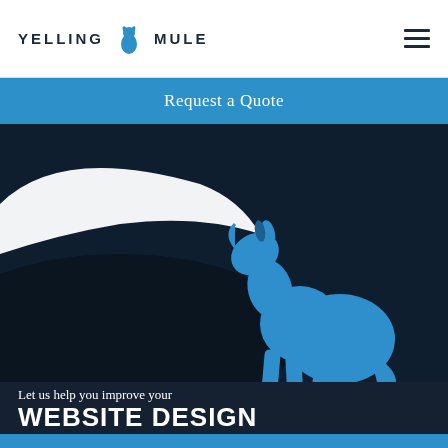YELLING MULE
Request a Quote
[Figure (illustration): Dark navy background with a blue silhouette of a mule/dog sitting and howling upward, with a white crescent moon shape in the upper left area]
Let us help you improve your
WEBSITE DESIGN